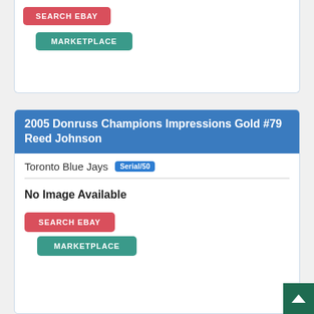[Figure (screenshot): Top portion of a trading card listing showing SEARCH EBAY (red button) and MARKETPLACE (teal button) on white card background with blue border]
2005 Donruss Champions Impressions Gold #79 Reed Johnson
Toronto Blue Jays Serial/50
No Image Available
SEARCH EBAY
MARKETPLACE